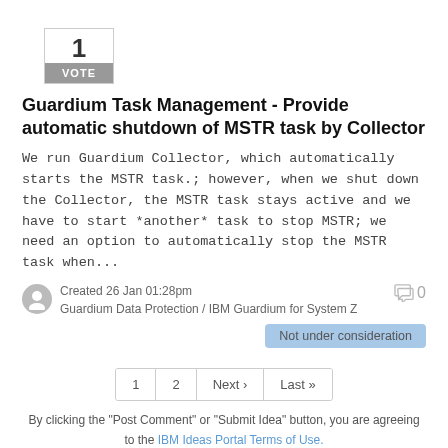[Figure (other): Vote box showing '1 VOTE' with grey label bar]
Guardium Task Management - Provide automatic shutdown of MSTR task by Collector
We run Guardium Collector, which automatically starts the MSTR task.; however, when we shut down the Collector, the MSTR task stays active and we have to start *another* task to stop MSTR; we need an option to automatically stop the MSTR task when...
Created 26 Jan 01:28pm
Guardium Data Protection / IBM Guardium for System Z
0
Not under consideration
1  2  Next ›  Last »
By clicking the "Post Comment" or "Submit Idea" button, you are agreeing to the IBM Ideas Portal Terms of Use. Do not place IBM confidential, company confidential, or personal information into any field.